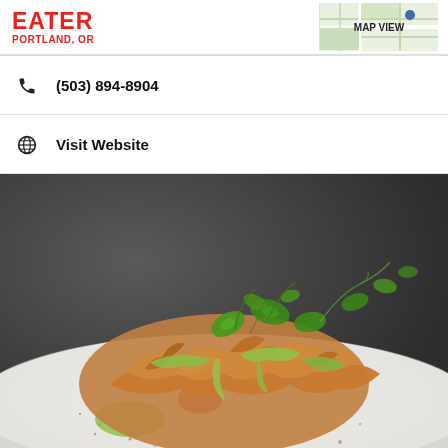EATER PORTLAND, OR
(503) 894-8904
Visit Website
[Figure (photo): Close-up food photography of a gourmet dish on a white plate: crispy fried shallots or onion rings stacked high, topped with green avocado cream sauce drizzled over the top, fresh micro greens garnish, red tomato visible underneath, spices dusted on the white plate, dark grey background.]